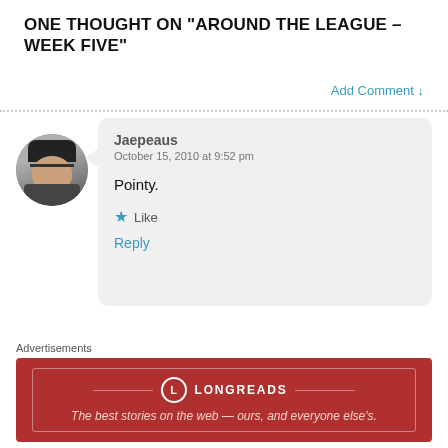ONE THOUGHT ON “AROUND THE LEAGUE – WEEK FIVE”
Add Comment ↓
[Figure (photo): Circular avatar photo of a person wearing a dark baseball cap and glasses]
Jaepeaus
October 15, 2010 at 9:52 pm

Pointy.

★ Like

Reply
LEAVE A REPLY
Advertisements
[Figure (infographic): Longreads advertisement banner: red background with logo and tagline ‘The best stories on the web – ours, and everyone else’s.’]